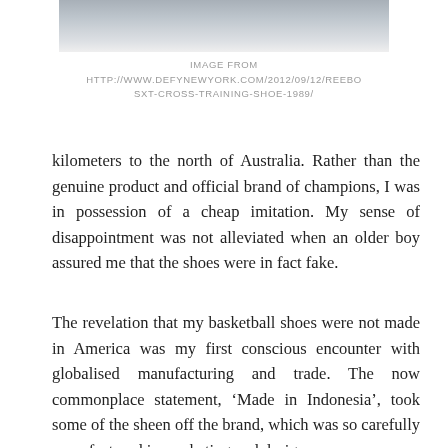[Figure (photo): Partial view of a white Reebok athletic/basketball shoe, cropped at the top of the page]
IMAGE FROM
HTTP://WWW.DEFYNEWYORK.COM/2012/09/12/REEBO
SXT-CROSS-TRAINING-SHOE-1989/
kilometers to the north of Australia. Rather than the genuine product and official brand of champions, I was in possession of a cheap imitation. My sense of disappointment was not alleviated when an older boy assured me that the shoes were in fact fake.
The revelation that my basketball shoes were not made in America was my first conscious encounter with globalised manufacturing and trade. The now commonplace statement, ‘Made in Indonesia’, took some of the sheen off the brand, which was so carefully manufactured in marketing and design